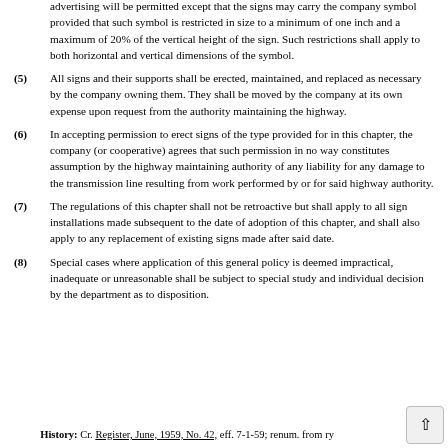be avoided unless specifically required by statute or other legal authority. No advertising will be permitted except that the signs may carry the company symbol provided that such symbol is restricted in size to a minimum of one inch and a maximum of 20% of the vertical height of the sign. Such restrictions shall apply to both horizontal and vertical dimensions of the symbol.
(5) All signs and their supports shall be erected, maintained, and replaced as necessary by the company owning them. They shall be moved by the company at its own expense upon request from the authority maintaining the highway.
(6) In accepting permission to erect signs of the type provided for in this chapter, the company (or cooperative) agrees that such permission in no way constitutes assumption by the highway maintaining authority of any liability for any damage to the transmission line resulting from work performed by or for said highway authority.
(7) The regulations of this chapter shall not be retroactive but shall apply to all sign installations made subsequent to the date of adoption of this chapter, and shall also apply to any replacement of existing signs made after said date.
(8) Special cases where application of this general policy is deemed impractical, inadequate or unreasonable shall be subject to special study and individual decision by the department as to disposition.
History: Cr. Register, June, 1959, No. 42, eff. 7-1-59; renum. from ry